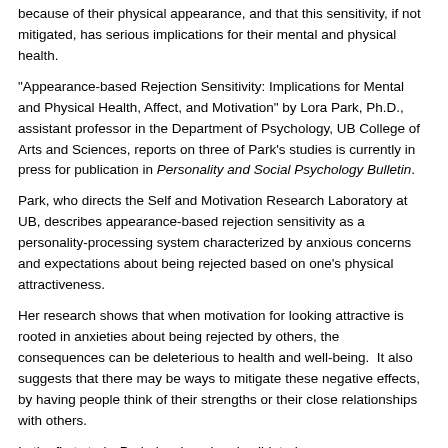because of their physical appearance, and that this sensitivity, if not mitigated, has serious implications for their mental and physical health.
"Appearance-based Rejection Sensitivity: Implications for Mental and Physical Health, Affect, and Motivation" by Lora Park, Ph.D., assistant professor in the Department of Psychology, UB College of Arts and Sciences, reports on three of Park's studies is currently in press for publication in Personality and Social Psychology Bulletin.
Park, who directs the Self and Motivation Research Laboratory at UB, describes appearance-based rejection sensitivity as a personality-processing system characterized by anxious concerns and expectations about being rejected based on one's physical attractiveness.
Her research shows that when motivation for looking attractive is rooted in anxieties about being rejected by others, the consequences can be deleterious to health and well-being.  It also suggests that there may be ways to mitigate these negative effects, by having people think of their strengths or their close relationships with others.
In the first study, Park developed and validated an appearance-based rejection